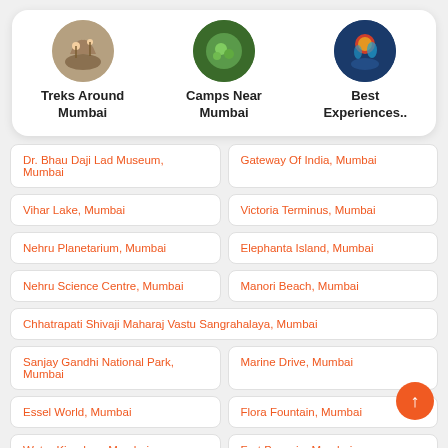[Figure (other): Three circular icons with labels: Treks Around Mumbai, Camps Near Mumbai, Best Experiences..]
Dr. Bhau Daji Lad Museum, Mumbai
Gateway Of India, Mumbai
Vihar Lake, Mumbai
Victoria Terminus, Mumbai
Nehru Planetarium, Mumbai
Elephanta Island, Mumbai
Nehru Science Centre, Mumbai
Manori Beach, Mumbai
Chhatrapati Shivaji Maharaj Vastu Sangrahalaya, Mumbai
Sanjay Gandhi National Park, Mumbai
Marine Drive, Mumbai
Essel World, Mumbai
Flora Fountain, Mumbai
Water Kingdom, Mumbai
Fort Bassein, Mumbai
Horniman Circle Gardens, Mumbai
Mumbai Zoo